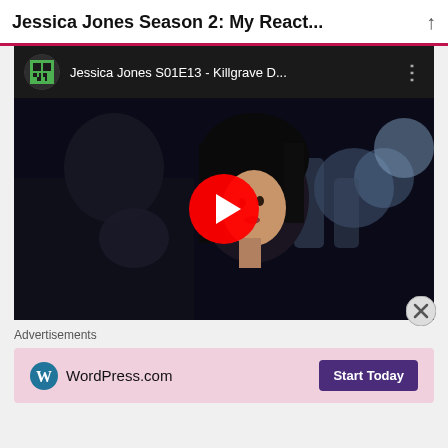Jessica Jones Season 2: My React...
[Figure (screenshot): YouTube video thumbnail showing Jessica Jones S01E13 - Killgrave D... with a Minecraft creeper channel icon, a dark scene with a woman with black hair, and a red YouTube play button in the center]
Advertisements
[Figure (screenshot): WordPress.com advertisement banner with pink background showing WordPress.com logo on the left and a 'Start Today' purple button on the right]